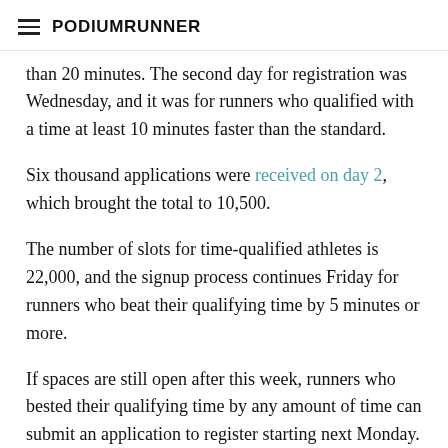PodiumRunner
than 20 minutes. The second day for registration was Wednesday, and it was for runners who qualified with a time at least 10 minutes faster than the standard.
Six thousand applications were received on day 2, which brought the total to 10,500.
The number of slots for time-qualified athletes is 22,000, and the signup process continues Friday for runners who beat their qualifying time by 5 minutes or more.
If spaces are still open after this week, runners who bested their qualifying time by any amount of time can submit an application to register starting next Monday. That registration period will be open through next Friday, Sept. 20. If spots are still open after that, runners who qualified can register on a